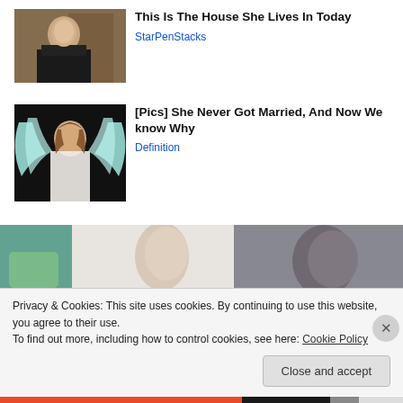[Figure (photo): Thumbnail photo of a woman in judge robes (Judge Judy style)]
This Is The House She Lives In Today
StarPenStacks
[Figure (photo): Thumbnail photo of a woman with large white/teal angel wings against dark background]
[Pics] She Never Got Married, And Now We know Why
Definition
[Figure (photo): Wide banner photo showing two people in a light/medical setting]
Privacy & Cookies: This site uses cookies. By continuing to use this website, you agree to their use.
To find out more, including how to control cookies, see here: Cookie Policy
Close and accept